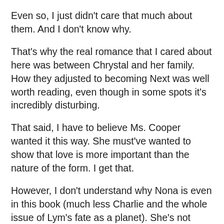Even so, I just didn't care that much about them. And I don't know why.
That's why the real romance that I cared about here was between Chrystal and her family. How they adjusted to becoming Next was well worth reading, even though in some spots it's incredibly disturbing.
That said, I have to believe Ms. Cooper wanted it this way. She must've wanted to show that love is more important than the nature of the form. I get that.
However, I don't understand why Nona is even in this book (much less Charlie and the whole issue of Lym's fate as a planet). She's not strong enough to compete with Crystal and her story.